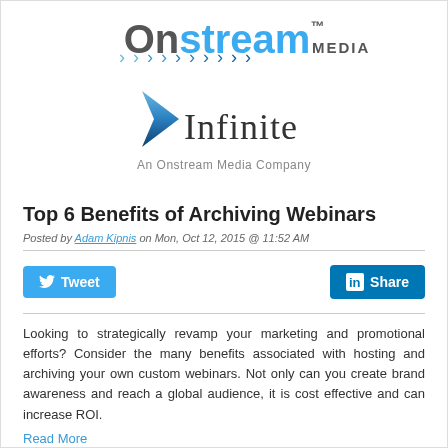[Figure (logo): Onstream Media Infinite logo — 'Onstream' in gray/blue bold text with TM symbol, blue chevron arrows row, blue chevron arrow with 'Infinite' text, 'An Onstream Media Company' tagline]
Top 6 Benefits of Archiving Webinars
Posted by Adam Kipnis on Mon, Oct 12, 2015 @ 11:52 AM
[Figure (other): Tweet button (blue) and Share button (LinkedIn blue) social sharing buttons]
Looking to strategically revamp your marketing and promotional efforts? Consider the many benefits associated with hosting and archiving your own custom webinars. Not only can you create brand awareness and reach a global audience, it is cost effective and can increase ROI.
Read More